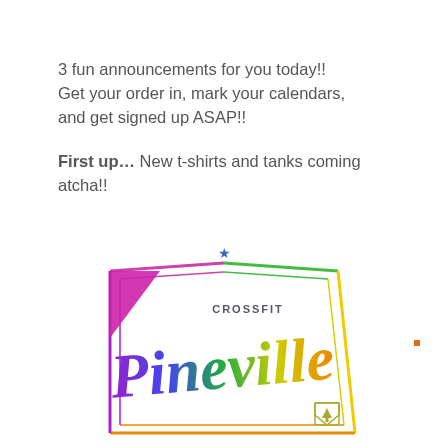3 fun announcements for you today!! Get your order in, mark your calendars, and get signed up ASAP!!
First up… New t-shirts and tanks coming atcha!!
[Figure (logo): CrossFit Pineville rainbow-colored logo with a star at the top, diagonal banner shape with script lettering 'Pineville' and block text 'CROSSFIT', with a shield/crest at the bottom right.]